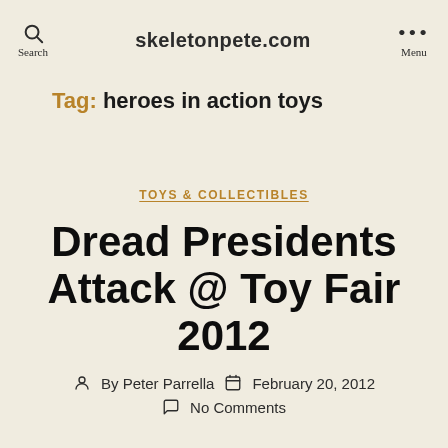skeletonpete.com
Tag: heroes in action toys
TOYS & COLLECTIBLES
Dread Presidents Attack @ Toy Fair 2012
By Peter Parrella  February 20, 2012  No Comments